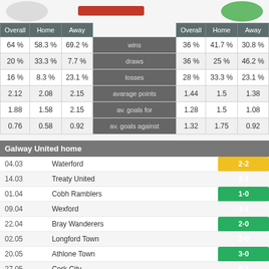| Overall | Home | Away |  | Overall | Home | Away |
| --- | --- | --- | --- | --- | --- | --- |
| 64 % | 58.3 % | 69.2 % | wins | 36 % | 41.7 % | 30.8 % |
| 20 % | 33.3 % | 7.7 % | draws | 36 % | 25 % | 46.2 % |
| 16 % | 8.3 % | 23.1 % | losses | 28 % | 33.3 % | 23.1 % |
| 2.12 | 2.08 | 2.15 | avarage points | 1.44 | 1.5 | 1.38 |
| 1.88 | 1.58 | 2.15 | av. goals for | 1.28 | 1.5 | 1.08 |
| 0.76 | 0.58 | 0.92 | av. goals against | 1.32 | 1.75 | 0.92 |
Galway United home
| Date | Opponent | Result |
| --- | --- | --- |
| 04.03 | Waterford | 2-2 |
| 14.03 | Treaty United | 2-1 |
| 01.04 | Cobh Ramblers | 1-0 |
| 09.04 | Wexford | 1-1 |
| 22.04 | Bray Wanderers | 2-0 |
| 02.05 | Longford Town | 2-0 |
| 20.05 | Athlone Town | 3-0 |
| 27.05 | Cork City | 0-1 |